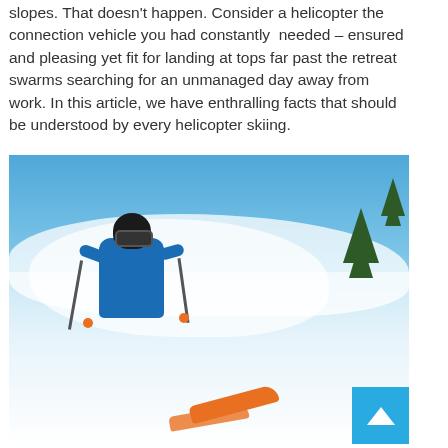slopes. That doesn't happen. Consider a helicopter the connection vehicle you had constantly needed – ensured and pleasing yet fit for landing at tops far past the retreat swarms searching for an unmanaged day away from work. In this article, we have enthralling facts that should be understood by every helicopter skiing.
[Figure (photo): A skier in a blue jacket and black helmet with goggles skiing through deep powder snow with pine trees and blue sky in the background. Orange ski tips and pole baskets visible. A blue 'back to top' button with an upward arrow is overlaid in the bottom right corner of the image.]